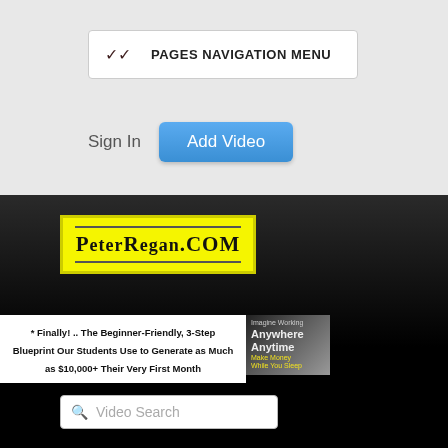PAGES NAVIGATION MENU
Sign In
Add Video
[Figure (logo): PeterRegan.com logo banner on yellow background with double line border]
* Finally! .. The Beginner-Friendly, 3-Step Blueprint Our Students Use to Generate as Much as $10,000+ Their Very First Month
[Figure (photo): Ad image with text: Imagine Working Anywhere Anytime Make Money While You Sleep]
Video Search